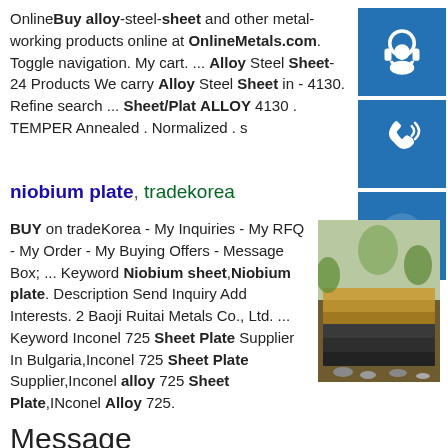OnlineBuy alloy-steel-sheet and other metal-working products online at OnlineMetals.com. Toggle navigation. My cart. ... Alloy Steel Sheet-24 Products We carry Alloy Steel Sheet in - 4130. Refine search ... Sheet/Plate ALLOY 4130 . TEMPER Annealed . Normalized . s
[Figure (screenshot): Three blue sidebar buttons with white icons: headset/support icon, phone/call icon, Skype icon]
niobium plate, tradekorea
BUY on tradeKorea - My Inquiries - My RFQ - My Order - My Buying Offers - Message Box; ... Keyword Niobium sheet,Niobium plate. Description Send Inquiry Add Interests. 2 Baoji Ruitai Metals Co., Ltd. ... Keyword Inconel 725 Sheet Plate Supplier In Bulgaria,Inconel 725 Sheet Plate Supplier,Inconel alloy 725 Sheet Plate,INconel Alloy 725.
[Figure (photo): Stack of metal plates/sheets outdoors on ground with green vegetation background]
Message